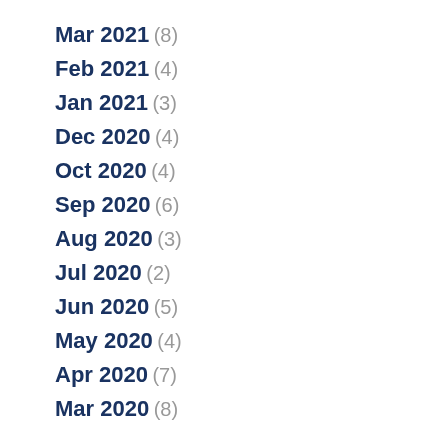Mar 2021 (8)
Feb 2021 (4)
Jan 2021 (3)
Dec 2020 (4)
Oct 2020 (4)
Sep 2020 (6)
Aug 2020 (3)
Jul 2020 (2)
Jun 2020 (5)
May 2020 (4)
Apr 2020 (7)
Mar 2020 (8)